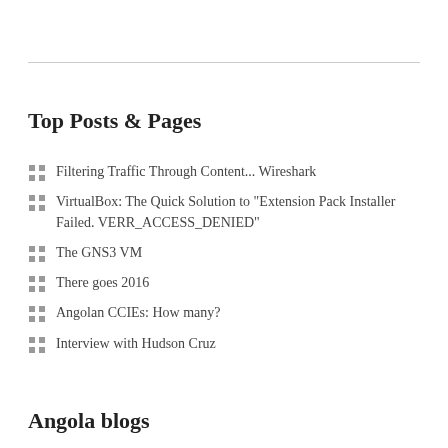Top Posts & Pages
Filtering Traffic Through Content... Wireshark
VirtualBox: The Quick Solution to "Extension Pack Installer Failed. VERR_ACCESS_DENIED"
The GNS3 VM
There goes 2016
Angolan CCIEs: How many?
Interview with Hudson Cruz
Angola blogs